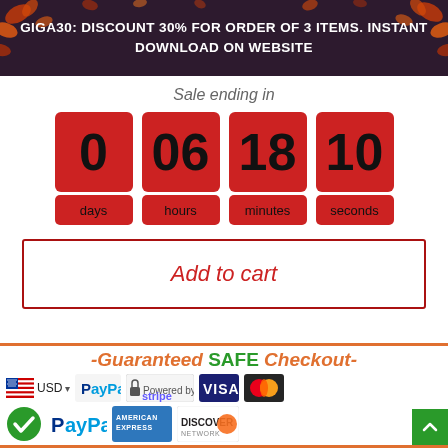GIGA30: DISCOUNT 30% FOR ORDER OF 3 ITEMS. INSTANT DOWNLOAD ON WEBSITE
Sale ending in
[Figure (infographic): Countdown timer showing 0 days, 06 hours, 18 minutes, 10 seconds on red tiles]
Add to cart
[Figure (infographic): Guaranteed SAFE Checkout banner with USD flag, PayPal, Stripe, Visa, Mastercard, American Express, Discover logos]